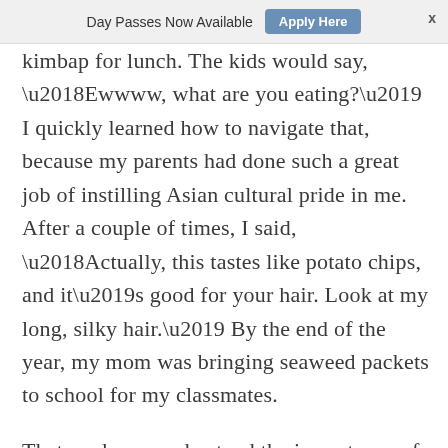Day Passes Now Available   Apply Here   x
kimbap for lunch. The kids would say, ‘Ewwww, what are you eating?’ I quickly learned how to navigate that, because my parents had done such a great job of instilling Asian cultural pride in me. After a couple of times, I said, ‘Actually, this tastes like potato chips, and it’s good for your hair. Look at my long, silky hair.’ By the end of the year, my mom was bringing seaweed packets to school for my classmates.
That made me understand the importance of sticking up for yourself and educating people on your culture. Now in my 30s is the first time I’m scared to be Asian when I go outside. All of the anti-Asian